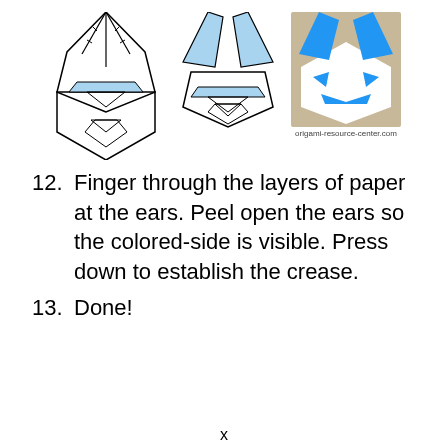[Figure (illustration): Three origami bunny diagrams side by side: two line-art diagrams showing folding steps for bunny ears (left shows closed/flat stage, middle shows ears opened up), and a photograph on the right showing the completed origami bunny with blue ears on a tan background.]
origami-resource-center.com
12. Finger through the layers of paper at the ears. Peel open the ears so the colored-side is visible. Press down to establish the crease.
13. Done!
x